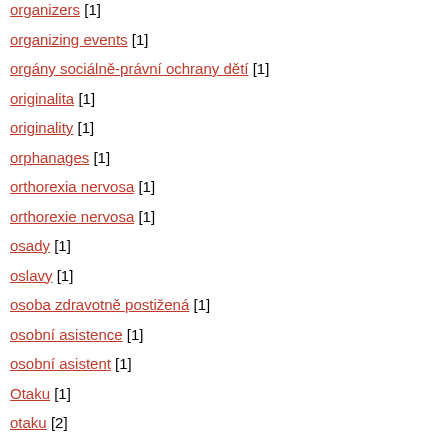organizers [1]
organizing events [1]
orgány sociálně-právní ochrany dětí [1]
originalita [1]
originality [1]
orphanages [1]
orthorexia nervosa [1]
orthorexie nervosa [1]
osady [1]
oslavy [1]
osoba zdravotně postižená [1]
osobní asistence [1]
osobní asistent [1]
Otaku [1]
otaku [2]